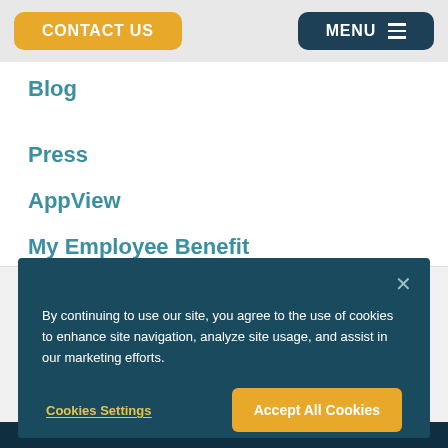CONTACT US | MENU
Blog
Press
AppView
My Employee Benefit
By continuing to use our site, you agree to the use of cookies to enhance site navigation, analyze site usage, and assist in our marketing efforts.
Cookies Settings
Accept All Cookies